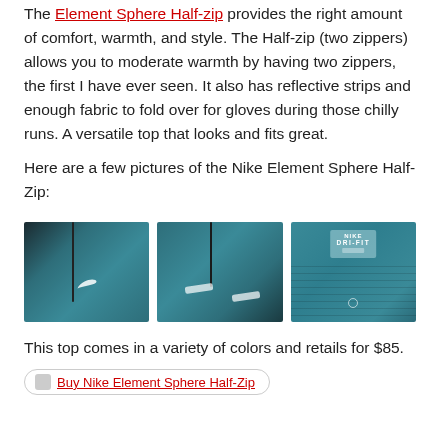The Element Sphere Half-zip provides the right amount of comfort, warmth, and style. The Half-zip (two zippers) allows you to moderate warmth by having two zippers, the first I have ever seen. It also has reflective strips and enough fabric to fold over for gloves during those chilly runs. A versatile top that looks and fits great.
Here are a few pictures of the Nike Element Sphere Half-Zip:
[Figure (photo): Three photos of the Nike Element Sphere Half-Zip in teal/blue color: first shows front with Nike swoosh, second shows reflective strips and zippers, third shows the Dri-FIT label on the fabric.]
This top comes in a variety of colors and retails for $85.
Buy Nike Element Sphere Half-Zip